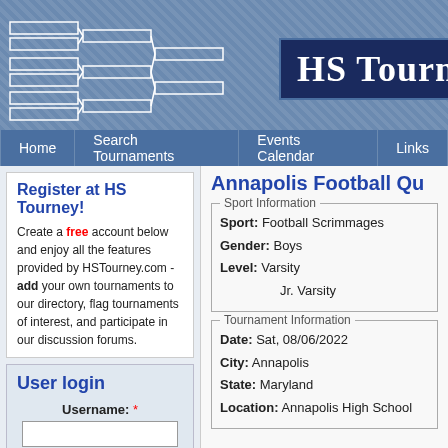[Figure (other): HS Tourney website header with tournament bracket graphic on left and 'HS Tourney' logo on dark navy background on right]
Home | Search Tournaments | Events Calendar | Links
Register at HS Tourney!
Create a free account below and enjoy all the features provided by HSTourney.com -add your own tournaments to our directory, flag tournaments of interest, and participate in our discussion forums.
User login
Username: *
Annapolis Football Qu
Sport Information
Sport: Football Scrimmages
Gender: Boys
Level: Varsity
       Jr. Varsity
Tournament Information
Date: Sat, 08/06/2022
City: Annapolis
State: Maryland
Location: Annapolis High School